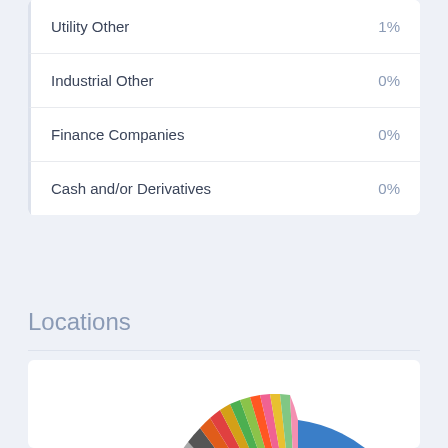| Category | Value |
| --- | --- |
| Utility Other | 1% |
| Industrial Other | 0% |
| Finance Companies | 0% |
| Cash and/or Derivatives | 0% |
Locations
[Figure (pie-chart): Partial pie chart showing Locations breakdown, with a large blue slice and many smaller colored slices (orange, green, red, gray, brown, yellow, etc.)]